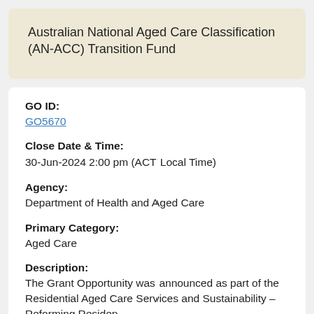Australian National Aged Care Classification (AN-ACC) Transition Fund
GO ID:
GO5670
Close Date & Time:
30-Jun-2024 2:00 pm (ACT Local Time)
Agency:
Department of Health and Aged Care
Primary Category:
Aged Care
Description:
The Grant Opportunity was announced as part of the Residential Aged Care Services and Sustainability – Reforming Residen...